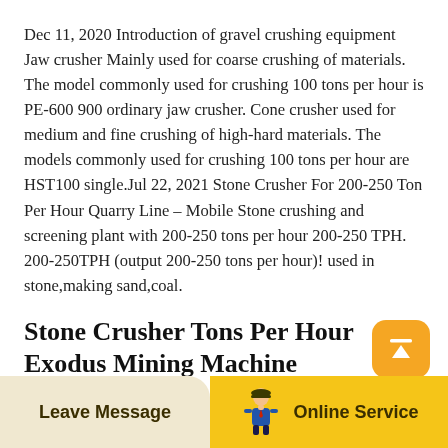Dec 11, 2020 Introduction of gravel crushing equipment Jaw crusher Mainly used for coarse crushing of materials. The model commonly used for crushing 100 tons per hour is PE-600 900 ordinary jaw crusher. Cone crusher used for medium and fine crushing of high-hard materials. The models commonly used for crushing 100 tons per hour are HST100 single.Jul 22, 2021 Stone Crusher For 200-250 Ton Per Hour Quarry Line – Mobile Stone crushing and screening plant with 200-250 tons per hour 200-250 TPH. 200-250TPH (output 200-250 tons per hour)! used in stone,making sand,coal.
[Figure (illustration): Scroll-to-top button: orange rounded square with upward-pointing arrow icon]
Stone Crusher Tons Per Hour Exodus Mining Machine
Metso Designed for WET applications using water to
Leave Message   Online Service